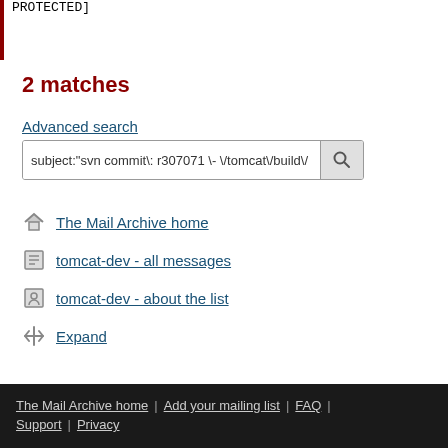PROTECTED]
2 matches
Advanced search
subject:"svn commit\: r307071 \- \/tomcat\/build\/
The Mail Archive home
tomcat-dev - all messages
tomcat-dev - about the list
Expand
The Mail Archive home | Add your mailing list | FAQ | Support | Privacy